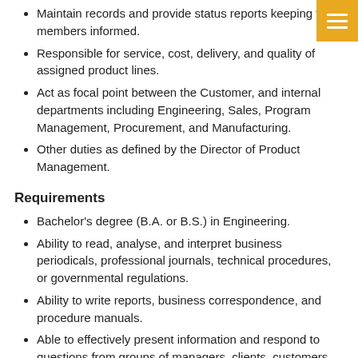Maintain records and provide status reports keeping team members informed.
Responsible for service, cost, delivery, and quality of assigned product lines.
Act as focal point between the Customer, and internal departments including Engineering, Sales, Program Management, Procurement, and Manufacturing.
Other duties as defined by the Director of Product Management.
Requirements
Bachelor's degree (B.A. or B.S.) in Engineering.
Ability to read, analyse, and interpret business periodicals, professional journals, technical procedures, or governmental regulations.
Ability to write reports, business correspondence, and procedure manuals.
Able to effectively present information and respond to questions from groups of managers, clients, customers, and the public.